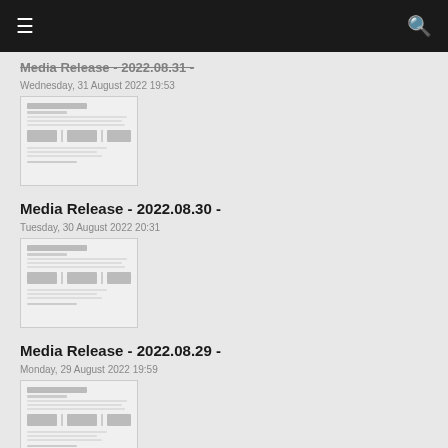Navigation bar with menu and search icons
Media Release - 2022.08.31 -
Wednesday, 31 August 2022 19:53
[Figure (screenshot): Thumbnail of a government media release document dated 2022.08.31]
Media Release - 2022.08.30 -
Tuesday, 30 August 2022 20:31
[Figure (screenshot): Thumbnail of a government media release document dated 2022.08.30]
Media Release - 2022.08.29 -
Monday, 29 August 2022 19:59
[Figure (screenshot): Thumbnail of a government media release document dated 2022.08.29]